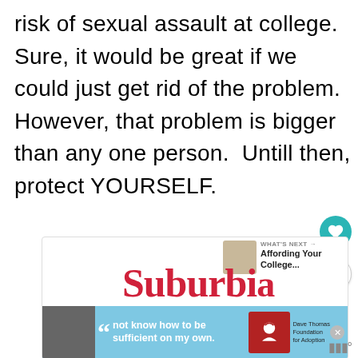risk of sexual assault at college. Sure, it would be great if we could just get rid of the problem. However, that problem is bigger than any one person.  Untill then, protect YOURSELF.
[Figure (screenshot): A web page screenshot showing a Suburbia Unwrapped article card, a Dave Thomas Foundation for Adoption advertisement banner, and social media interaction buttons (heart/like and share).]